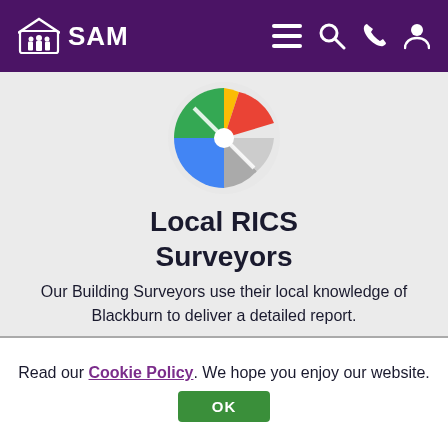SAM - header navigation
[Figure (logo): Colorful Google Maps-style pin/map icon circle with green, red, yellow, blue, grey segments]
Local RICS Surveyors
Our Building Surveyors use their local knowledge of Blackburn to deliver a detailed report.
[Figure (illustration): Speedometer/gauge icon showing a semicircular gauge colored orange to red with a needle pointing right of center]
Fast Availability and
Read our Cookie Policy. We hope you enjoy our website. OK